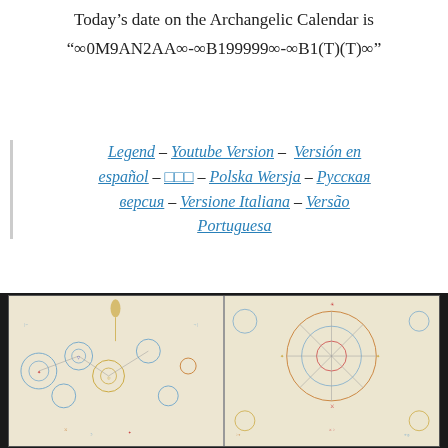Today's date on the Archangelic Calendar is “∞0M9AN2AA∞-∞B199999∞-∞B1(T)(T)∞”
Legend – Youtube Version – Versión en español – ��� – Polska Wersja – Русская версия – Versione Italiana – Versão Portuguesa
[Figure (photo): A photograph of an open book/journal showing two pages filled with colorful hand-drawn circular diagrams, symbols, and notations that appear to be the Archangelic Calendar.]